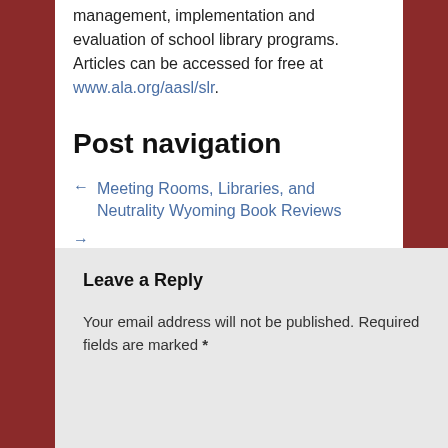management, implementation and evaluation of school library programs. Articles can be accessed for free at www.ala.org/aasl/slr.
Post navigation
← Meeting Rooms, Libraries, and Neutrality Wyoming Book Reviews
→
Leave a Reply
Your email address will not be published. Required fields are marked *